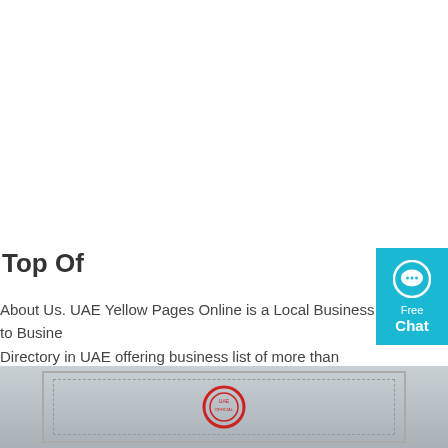Top Of
About Us. UAE Yellow Pages Online is a Local Business to Business Directory in UAE offering business list of more than 250,000 comp… You can find Hotels in UAE , Companies in UAE , Properties in UAE , Travel info in UAE through this Site.
Get Price
[Figure (screenshot): Free Chat widget button with speech bubble icon in teal/cyan blue color]
[Figure (photo): Photo showing a framed document or certificate with a red circular stamp/seal at the bottom]